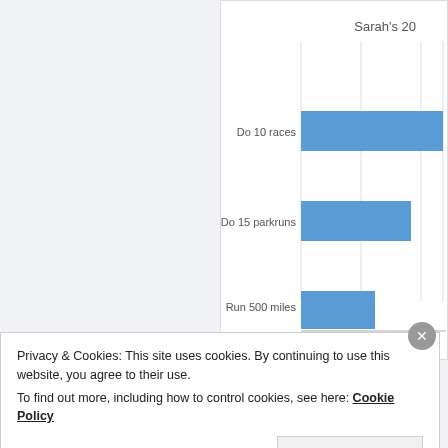[Figure (bar-chart): Sarah's 20...]
I'm slightly behind on my mileage target – shoul...
Privacy & Cookies: This site uses cookies. By continuing to use this website, you agree to their use.
To find out more, including how to control cookies, see here: Cookie Policy